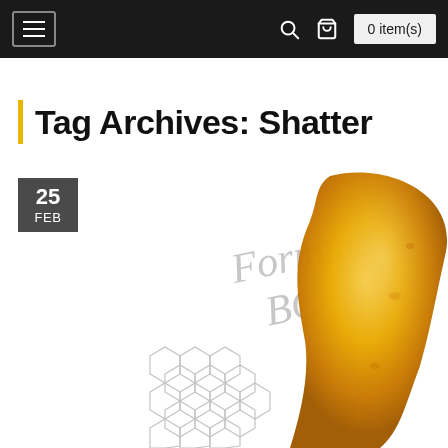☰  🔍  🛒  0 item(s)
Tag Archives: Shatter
25 FEB
[Figure (photo): Formula BC product photo showing a golden amber shatter concentrate with honeycomb molecular structure logo and cursive Formula BC text on white background]